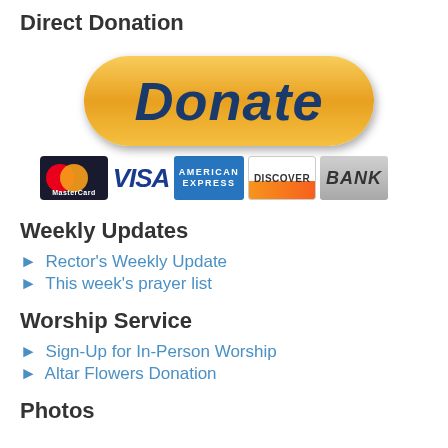Direct Donation
[Figure (illustration): Yellow/gold rounded rectangle PayPal-style Donate button with dark blue italic bold text 'Donate', followed by payment method logos: MasterCard, Visa, American Express, Discover, Bank]
Weekly Updates
► Rector's Weekly Update
► This week's prayer list
Worship Service
► Sign-Up for In-Person Worship
► Altar Flowers Donation
Photos